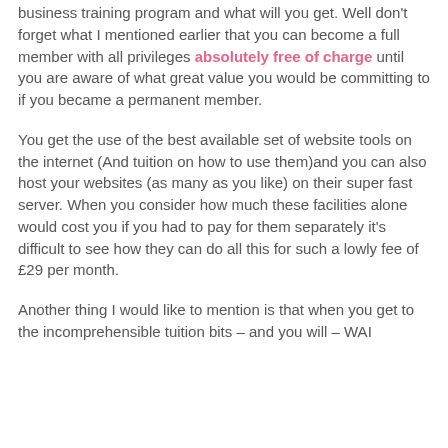business training program and what will you get. Well don't forget what I mentioned earlier that you can become a full member with all privileges absolutely free of charge until you are aware of what great value you would be committing to if you became a permanent member.
You get the use of the best available set of website tools on the internet (And tuition on how to use them)and you can also host your websites (as many as you like) on their super fast server. When you consider how much these facilities alone would cost you if you had to pay for them separately it's difficult to see how they can do all this for such a lowly fee of £29 per month.
Another thing I would like to mention is that when you get to the incomprehensible tuition bits – and you will – WAI